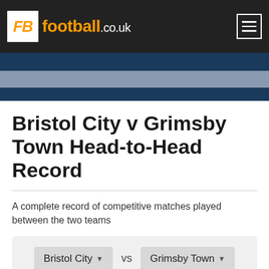FB football.co.uk
Bristol City v Grimsby Town Head-to-Head Record
A complete record of competitive matches played between the two teams
[Figure (infographic): Team selector widget showing Bristol City vs Grimsby Town dropdown buttons on a grey background]
Bristol City (25)   Grimsby Town (25)